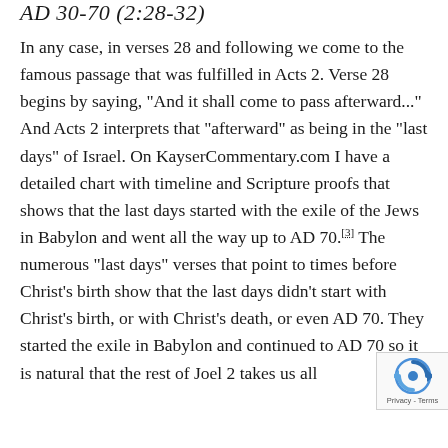AD 30-70 (2:28-32)
In any case, in verses 28 and following we come to the famous passage that was fulfilled in Acts 2. Verse 28 begins by saying, "And it shall come to pass afterward..." And Acts 2 interprets that "afterward" as being in the "last days" of Israel. On KayserCommentary.com I have a detailed chart with timeline and Scripture proofs that shows that the last days started with the exile of the Jews in Babylon and went all the way up to AD 70.[3] The numerous "last days" verses that point to times before Christ's birth show that the last days didn't start with Christ's birth, or with Christ's death, or even AD 70. They started the exile in Babylon and continued to AD 70 so it is natural that the rest of Joel 2 takes us all
[Figure (other): reCAPTCHA badge with circular arrow icon and 'Privacy - Terms' text]